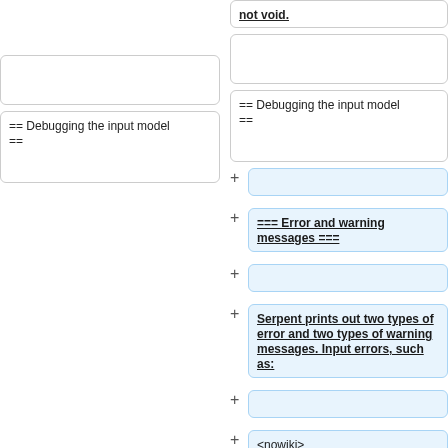not void.
== Debugging the input model ==
== Debugging the input model ==
=== Error and warning messages ===
Serpent prints out two types of error and two types of warning messages. Input errors, such as:
<nowiki>